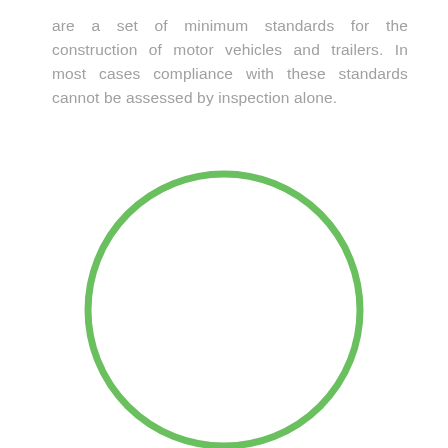are a set of minimum standards for the construction of motor vehicles and trailers. In most cases compliance with these standards cannot be assessed by inspection alone.
[Figure (illustration): A large green unfilled circle (ring outline only) centered on the lower portion of the page.]